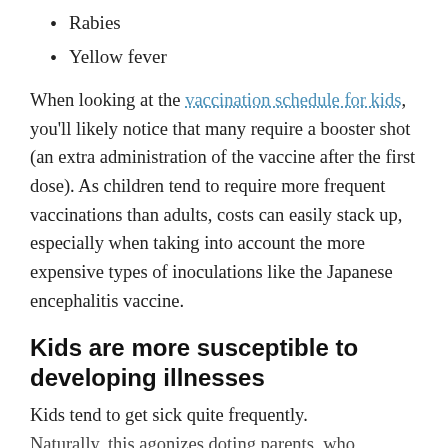Rabies
Yellow fever
When looking at the vaccination schedule for kids, you'll likely notice that many require a booster shot (an extra administration of the vaccine after the first dose). As children tend to require more frequent vaccinations than adults, costs can easily stack up, especially when taking into account the more expensive types of inoculations like the Japanese encephalitis vaccine.
Kids are more susceptible to developing illnesses
Kids tend to get sick quite frequently. Naturally, this agonizes doting parents, who